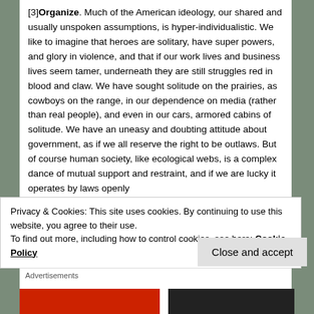[3] Organize. Much of the American ideology, our shared and usually unspoken assumptions, is hyper-individualistic. We like to imagine that heroes are solitary, have super powers, and glory in violence, and that if our work lives and business lives seem tamer, underneath they are still struggles red in blood and claw. We have sought solitude on the prairies, as cowboys on the range, in our dependence on media (rather than real people), and even in our cars, armored cabins of solitude. We have an uneasy and doubting attitude about government, as if we all reserve the right to be outlaws. But of course human society, like ecological webs, is a complex dance of mutual support and restraint, and if we are lucky it operates by laws openly
Privacy & Cookies: This site uses cookies. By continuing to use this website, you agree to their use. To find out more, including how to control cookies, see here: Cookie Policy
Close and accept
Advertisements